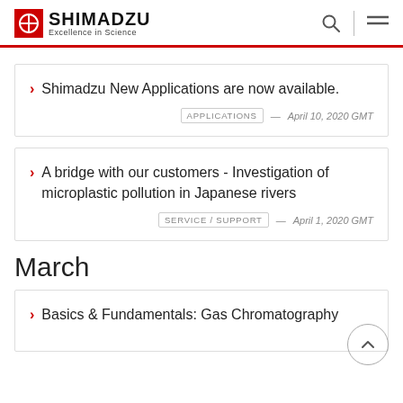SHIMADZU — Excellence in Science
Shimadzu New Applications are now available. APPLICATIONS — April 10, 2020 GMT
A bridge with our customers - Investigation of microplastic pollution in Japanese rivers SERVICE / SUPPORT — April 1, 2020 GMT
March
Basics & Fundamentals: Gas Chromatography